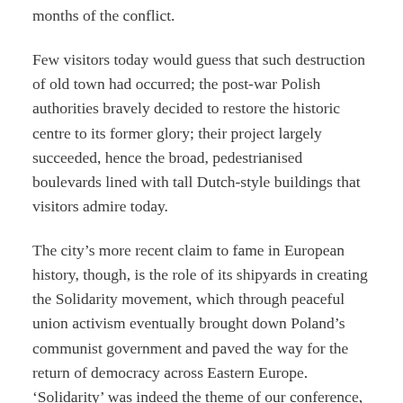months of the conflict.
Few visitors today would guess that such destruction of old town had occurred; the post-war Polish authorities bravely decided to restore the historic centre to its former glory; their project largely succeeded, hence the broad, pedestrianised boulevards lined with tall Dutch-style buildings that visitors admire today.
The city’s more recent claim to fame in European history, though, is the role of its shipyards in creating the Solidarity movement, which through peaceful union activism eventually brought down Poland’s communist government and paved the way for the return of democracy across Eastern Europe. ‘Solidarity’ was indeed the theme of our conference, a fitting topic at a time when the shared values underpinning the European project are increasingly under threat.